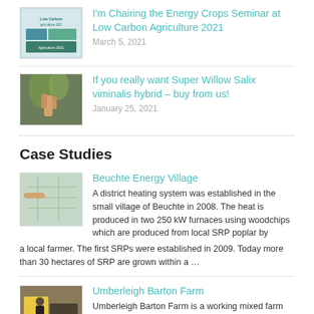[Figure (photo): Thumbnail image for Low Carbon Agriculture 2021 seminar post]
I'm Chairing the Energy Crops Seminar at Low Carbon Agriculture 2021
March 5, 2021
[Figure (photo): Thumbnail image showing hands near willow plant]
If you really want Super Willow Salix viminalis hybrid – buy from us!
January 25, 2021
Case Studies
[Figure (photo): Thumbnail image for Beuchte Energy Village case study]
Beuchte Energy Village
A district heating system was established in the small village of Beuchte in 2008. The heat is produced in two 250 kW furnaces using woodchips which are produced from local SRP poplar by a local farmer. The first SRPs were established in 2009. Today more than 30 hectares of SRP are grown within a …
[Figure (photo): Thumbnail image for Umberleigh Barton Farm case study showing biomass boiler]
Umberleigh Barton Farm
Umberleigh Barton Farm is a working mixed farm situated in North Devon. The owners of the farm business have installed a biomass boiler to supply space and water heating to the various buildings on site. As a result the farm is no longer dependent on the